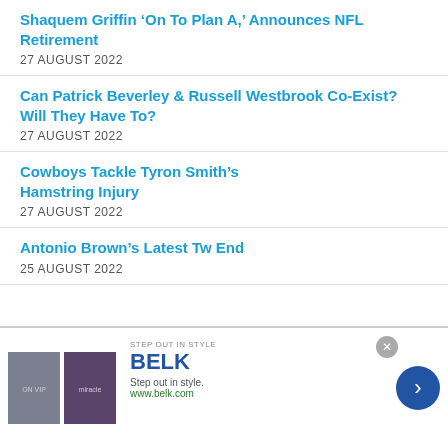Shaquem Griffin ‘On To Plan A,’ Announces NFL Retirement
27 AUGUST 2022
Can Patrick Beverley & Russell Westbrook Co-Exist? Will They Have To?
27 AUGUST 2022
Cowboys Tackle Tyron Smith’s Hamstring Injury
27 AUGUST 2022
Antonio Brown’s Latest Tw End
25 AUGUST 2022
[Figure (advertisement): BestSelling advertisement overlay from AliExpress with orange background and shopping cart graphic]
[Figure (advertisement): BELK banner ad - Step out in style, www.belk.com]